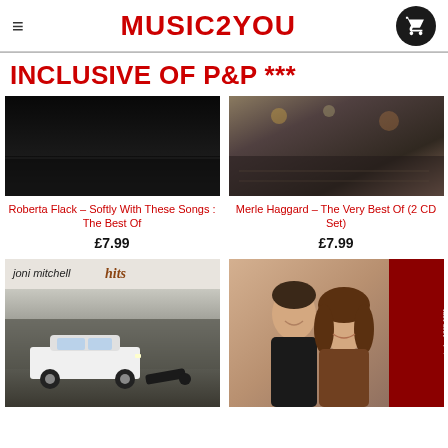MUSIC2YOU
INCLUSIVE OF P&P ***
[Figure (photo): Roberta Flack album cover - dark moody image]
Roberta Flack – Softly With These Songs : The Best Of
£7.99
[Figure (photo): Merle Haggard album cover - concert scene]
Merle Haggard – The Very Best Of (2 CD Set)
£7.99
[Figure (photo): Joni Mitchell Hits album cover - black and white photo with car]
[Figure (photo): Carpenters Singles 1969-1981 album cover - photo of Karen and Richard Carpenter]